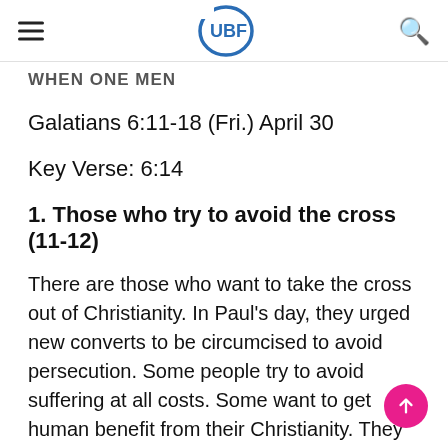UBF
WHEN ONE MEN
Galatians 6:11-18 (Fri.) April 30
Key Verse: 6:14
1. Those who try to avoid the cross (11-12)
There are those who want to take the cross out of Christianity. In Paul's day, they urged new converts to be circumcised to avoid persecution. Some people try to avoid suffering at all costs. Some want to get human benefit from their Christianity. They say and do things just to be praised by others. Because they are very skillful to find a way out of